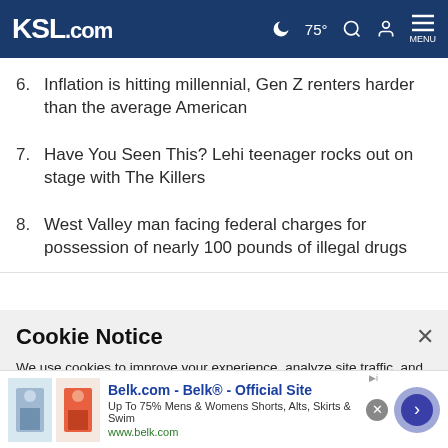KSL.com — 75° Search Account Menu
6. Inflation is hitting millennial, Gen Z renters harder than the average American
7. Have You Seen This? Lehi teenager rocks out on stage with The Killers
8. West Valley man facing federal charges for possession of nearly 100 pounds of illegal drugs
Cookie Notice
We use cookies to improve your experience, analyze site traffic, and to personalize content and ads. By continuing to use our site, you consent to our use of cookies. Please visit our Terms of Use and Privacy Policy for more information
[Figure (screenshot): Belk.com advertisement banner showing women's clothing with text: Belk.com - Belk® - Official Site, Up To 75% Mens & Womens Shorts, Alts, Skirts & Swim, www.belk.com]